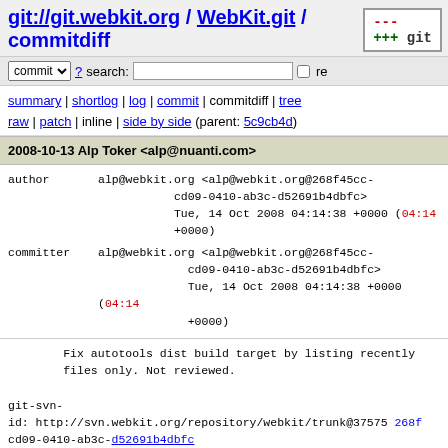git://git.webkit.org / WebKit.git / commitdiff
commit ? search: re
summary | shortlog | log | commit | commitdiff | tree
raw | patch | inline | side by side (parent: 5c9cb4d)
2008-10-13 Alp Toker <alp@nuanti.com>
author    alp@webkit.org <alp@webkit.org@268f45cc-cd09-0410-ab3c-d52691b4dbfc>
Tue, 14 Oct 2008 04:14:38 +0000 (04:14 +0000)
committer alp@webkit.org <alp@webkit.org@268f45cc-cd09-0410-ab3c-d52691b4dbfc>
Tue, 14 Oct 2008 04:14:38 +0000 (04:14 +0000)
Fix autotools dist build target by listing recently files only. Not reviewed.

git-svn-id: http://svn.webkit.org/repository/webkit/trunk@37575 268f45cc-cd09-0410-ab3c-d52691b4dbfc
JavaScriptCore/ChangeLog   patch | blob | history